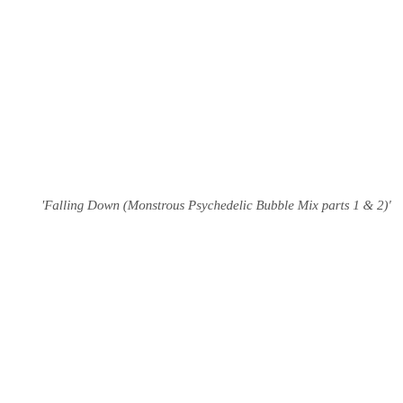'Falling Down (Monstrous Psychedelic Bubble Mix parts 1 & 2)'